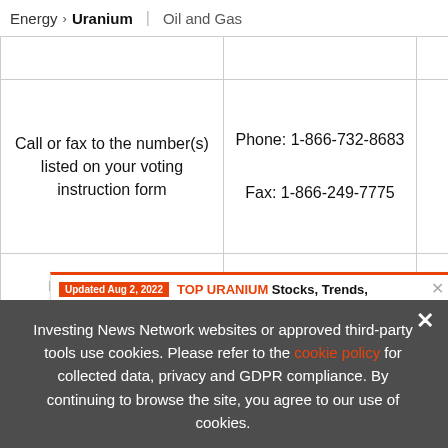Energy > Uranium | Oil and Gas
|  |  |  |
| Call or fax to the number(s) listed on your voting instruction form | Phone: 1-866-732-8683
Fax: 1-866-249-7775 | Fax to the listed on voting |
| Re... instruction form... |  | ...struc... |
[Figure (infographic): Advertisement banner: Updated Aug 2, 2022. TOP URANIUM Stocks, Trends, Forecasts. 2022 Uranium Outlook Report. INN logo. Close button (x).]
Investing News Network websites or approved third-party tools use cookies. Please refer to the cookie policy for collected data, privacy and GDPR compliance. By continuing to browse the site, you agree to our use of cookies.